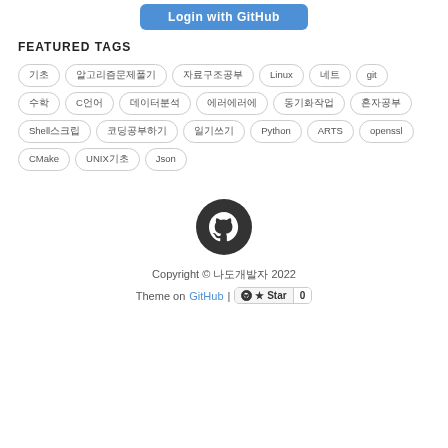[Figure (other): Login with GitHub button (blue rounded button)]
FEATURED TAGS
기초
알고리즘문제풀기
자료구조공부
Linux
네트
git
수학
C언어
데이터분석
에러에러에
동기화작업
혼자공부
Shell스크립
코딩공부하기
일기쓰기
Python
ARTS
openssl
CMake
UNIX기초
Json
[Figure (logo): GitHub logo (dark circular icon with GitHub cat)]
Copyright © 나도개발자 2022
Theme on GitHub | Star 0